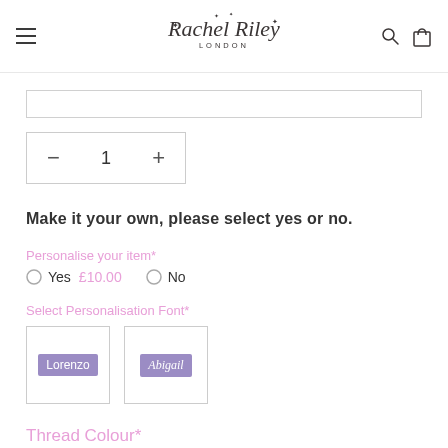Rachel Riley London
[Figure (screenshot): Text input bar (partially visible)]
[Figure (infographic): Quantity selector showing minus, 1, plus controls]
Make it your own, please select yes or no.
Personalise your item*
○ Yes £10.00  ○ No
Select Personalisation Font*
[Figure (infographic): Two font selector boxes: Lorenzo (sans-serif) and Abigail (italic script), both with purple background]
Thread Colour*